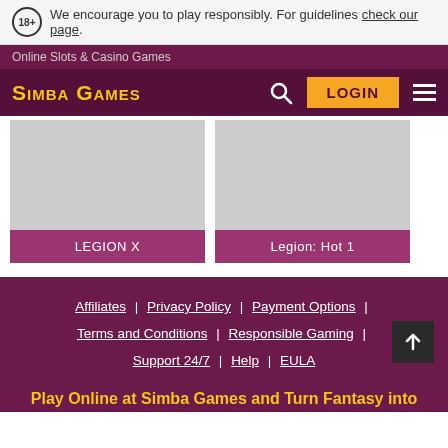We encourage you to play responsibly. For guidelines check our page.
Online Slots & Casino Games
SIMBA GAMES
[Figure (screenshot): Two game card thumbnails: LEGION X and Legion: Hot 1, with grey placeholder images and purple labels]
Affiliates | Privacy Policy | Payment Options | Terms and Conditions | Responsible Gaming | Support 24/7 | Help | EULA
Play Online at Simba Games and Turn Fantasy into